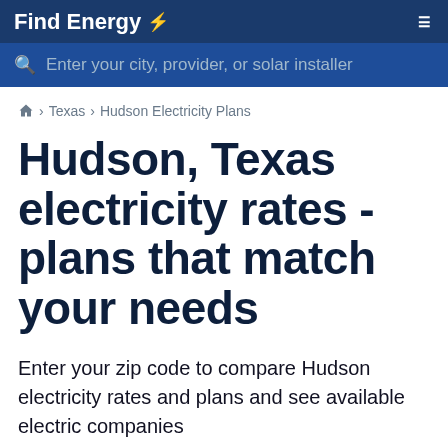Find Energy
Enter your city, provider, or solar installer
⌂ › Texas › Hudson Electricity Plans
Hudson, Texas electricity rates - plans that match your needs
Enter your zip code to compare Hudson electricity rates and plans and see available electric companies